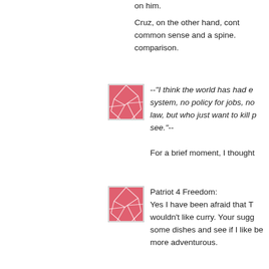on him.
Cruz, on the other hand, cont common sense and a spine. comparison.
[Figure (illustration): Pink/red abstract cracked pattern avatar icon with white border]
--"I think the world has had e system, no policy for jobs, no law, but who just want to kill p see."--
For a brief moment, I thought
[Figure (illustration): Pink/red abstract cracked pattern avatar icon with white border]
Patriot 4 Freedom:
Yes I have been afraid that T wouldn't like curry. Your sugg some dishes and see if I like be more adventurous.